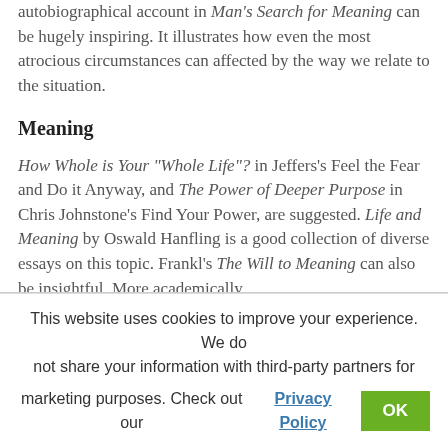autobiographical account in Man's Search for Meaning can be hugely inspiring. It illustrates how even the most atrocious circumstances can affected by the way we relate to the situation.
Meaning
How Whole is Your "Whole Life"? in Jeffers's Feel the Fear and Do it Anyway, and The Power of Deeper Purpose in Chris Johnstone's Find Your Power, are suggested. Life and Meaning by Oswald Hanfling is a good collection of diverse essays on this topic. Frankl's The Will to Meaning can also be insightful. More academically
This website uses cookies to improve your experience. We do not share your information with third-party partners for marketing purposes. Check out our Privacy Policy